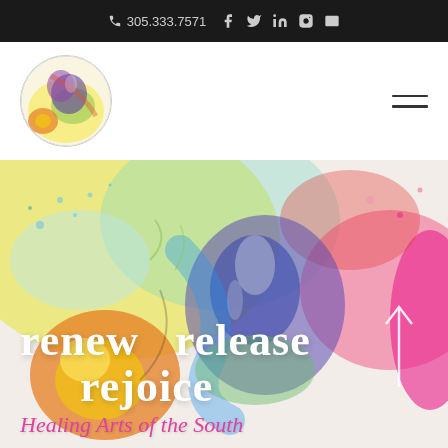305.333.7571  [phone] [facebook] [twitter] [linkedin] [instagram] [email]
[Figure (logo): Circular logo with colorful abstract watercolor painting — yellows, blues, greens, purples, orange]
[Figure (photo): Full-width hero background: abstract colorful watercolor painting with splashes of yellow, green, blue, purple, pink, red, and orange on white]
renew   release
rejoice
Healing Arts of the South